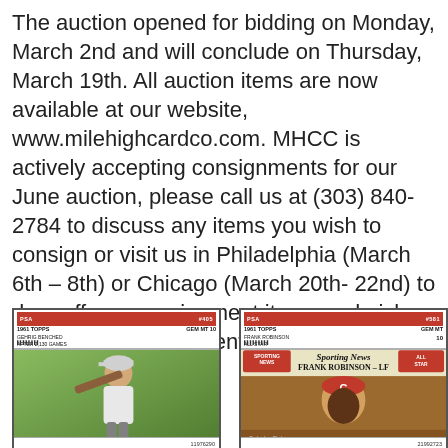The auction opened for bidding on Monday, March 2nd and will conclude on Thursday, March 19th. All auction items are now available at our website, www.milehighcardco.com. MHCC is actively accepting consignments for our June auction, please call us at (303) 840-2784 to discuss any items you wish to consign or visit us in Philadelphia (March 6th – 8th) or Chicago (March 20th- 22nd) to drop off any consignment items and pick up a catalog for the current auction.
[Figure (photo): Two PSA-graded baseball cards side by side. Left: 1961 Topps #405 Gehrig Benched After 2,130 Games, GEM MT 10, cert 11976290. Right: 1961 Topps #581 Frank Robinson All Star, GEM MT 10, cert 21992723.]